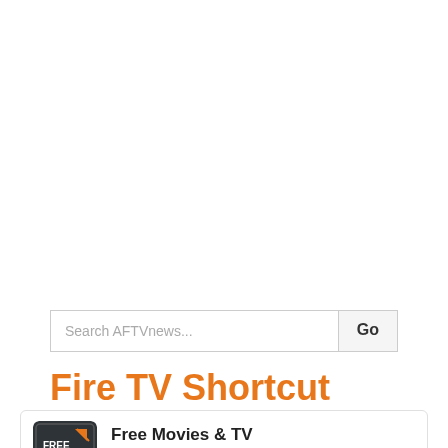[Figure (screenshot): Search bar with placeholder text 'Search AFTVnews...' and a 'Go' button]
Fire TV Shortcut Apps
[Figure (illustration): App icon for Free Movies & TV — dark background with orange arrow and text 'FREE Movies']
Free Movies & TV
View content that is free from